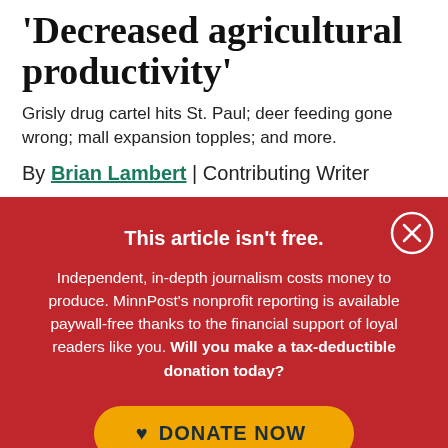'Decreased agricultural productivity'
Grisly drug cartel hits St. Paul; deer feeding gone wrong; mall expansion topples; and more.
By Brian Lambert | Contributing Writer
This article isn't free.
Independent, in-depth journalism costs money to produce. MinnPost's nonprofit reporting is available paywall-free thanks to the financial support of loyal readers like you. Will you make a tax-deductible donation today?
DONATE NOW